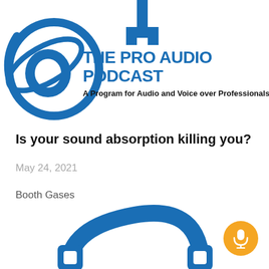[Figure (logo): The Pro Audio Podcast logo with headphone/microphone graphic in blue, title text 'THE PRO AUDIO PODCAST' in bold blue, subtitle 'A Program for Audio and Voice over Professionals' in bold black]
Is your sound absorption killing you?
May 24, 2021
Booth Gases
[Figure (logo): Partial bottom portion of The Pro Audio Podcast logo graphic in blue, showing bottom of headphone/microphone icon]
[Figure (illustration): Orange circular button with white microphone icon in the bottom right corner]